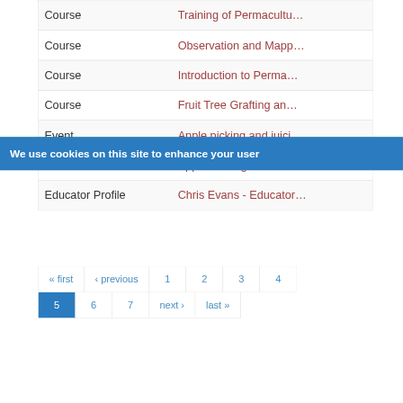| Type | Title |
| --- | --- |
| Course | Training of Permacultu… |
| Course | Observation and Mapp… |
| Course | Introduction to Perma… |
| Course | Fruit Tree Grafting an… |
| Event | Apple picking and juici… |
| Event | Apple Picking and Juici… |
| Educator Profile | Chris Evans - Educator… |
« first ‹ previous 1 2 3 4 5 6 7 next › last »
We use cookies on this site to enhance your user